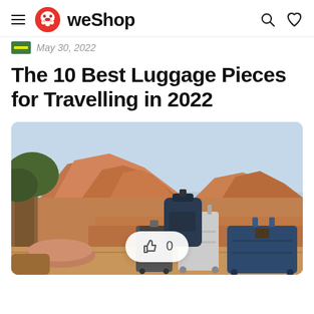WeShop
May 30, 2022
The 10 Best Luggage Pieces for Travelling in 2022
[Figure (photo): Photo of luggage pieces including suitcases and a backpack set against a desert landscape with red rock formations and an adobe wall. A thumbs-up like button with '0' is overlaid on the image.]